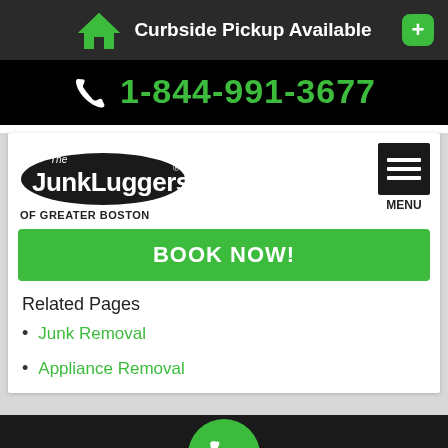Curbside Pickup Available
1-844-991-3677
[Figure (logo): The Junkluggers logo with dark oval background, OF GREATER BOSTON subtitle]
BOOK NOW!
Related Pages
Junk Removal
Appliance Removal
SERVICE AREA   BOOK NOW